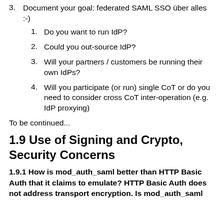3. Document your goal: federated SAML SSO über alles :-)
1. Do you want to run IdP?
2. Could you out-source IdP?
3. Will your partners / customers be running their own IdPs?
4. Will you participate (or run) single CoT or do you need to consider cross CoT inter-operation (e.g. IdP proxying)
To be continued...
1.9 Use of Signing and Crypto, Security Concerns
1.9.1 How is mod_auth_saml better than HTTP Basic Auth that it claims to emulate? HTTP Basic Auth does not address transport encryption. Is mod_auth_saml